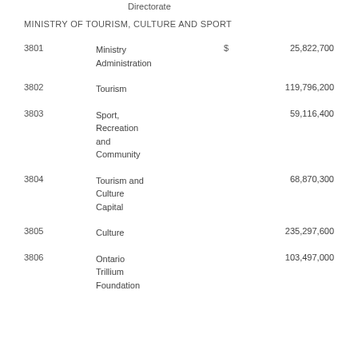Directorate
MINISTRY OF TOURISM, CULTURE AND SPORT
| Code | Description | $ | Amount |
| --- | --- | --- | --- |
| 3801 | Ministry Administration | $ | 25,822,700 |
| 3802 | Tourism |  | 119,796,200 |
| 3803 | Sport, Recreation and Community |  | 59,116,400 |
| 3804 | Tourism and Culture Capital |  | 68,870,300 |
| 3805 | Culture |  | 235,297,600 |
| 3806 | Ontario Trillium Foundation |  | 103,497,000 |